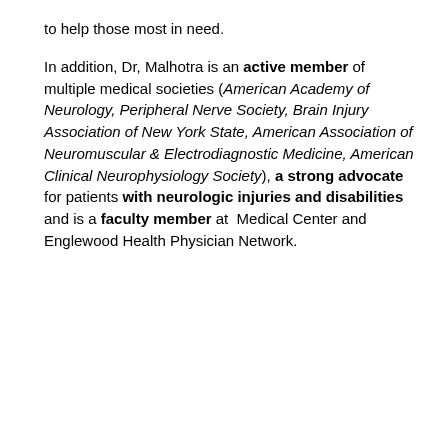to help those most in need.
In addition, Dr, Malhotra is an active member of multiple medical societies (American Academy of Neurology, Peripheral Nerve Society, Brain Injury Association of New York State, American Association of Neuromuscular & Electrodiagnostic Medicine, American Clinical Neurophysiology Society), a strong advocate for patients with neurologic injuries and disabilities and is a faculty member at Medical Center and Englewood Health Physician Network.